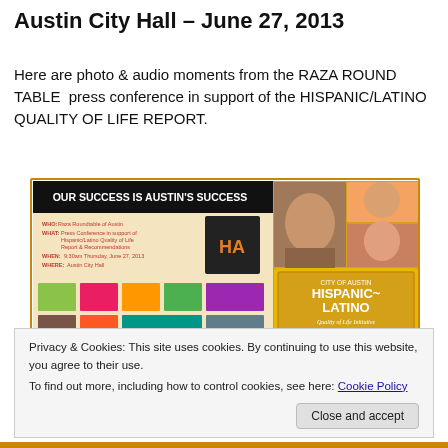Austin City Hall – June 27, 2013
Here are photo & audio moments from the RAZA ROUND TABLE  press conference in support of the HISPANIC/LATINO QUALITY OF LIFE REPORT.
[Figure (photo): Collage image for Raza Roundtable press conference at Austin City Hall, showing 'Our Success is Austin's Success' banner with event details and photos of Hispanic/Latino community members alongside the City of Austin Hispanic-Latino Quality of Life Initiative graphic.]
Privacy & Cookies: This site uses cookies. By continuing to use this website, you agree to their use.
To find out more, including how to control cookies, see here: Cookie Policy
Close and accept